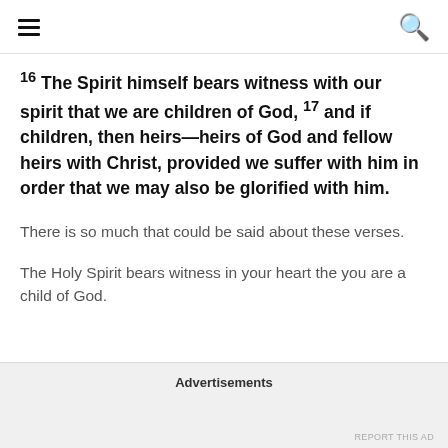☰ [menu] | [search]
16 The Spirit himself bears witness with our spirit that we are children of God, 17 and if children, then heirs—heirs of God and fellow heirs with Christ, provided we suffer with him in order that we may also be glorified with him.
There is so much that could be said about these verses.
The Holy Spirit bears witness in your heart the you are a child of God.
Advertisements